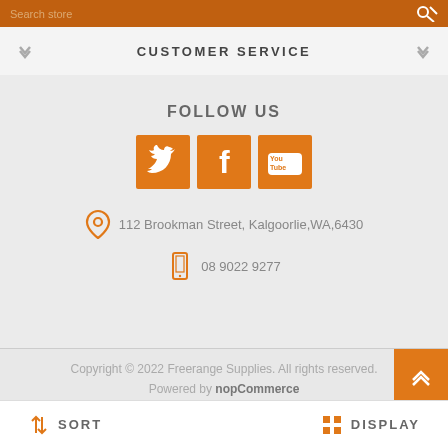Search store
CUSTOMER SERVICE
FOLLOW US
[Figure (illustration): Three orange social media icon buttons: Twitter (bird icon), Facebook (f icon), YouTube (You Tube logo)]
112 Brookman Street, Kalgoorlie,WA,6430
08 9022 9277
Copyright © 2022 Freerange Supplies. All rights reserved. Powered by nopCommerce Designed by Nop-Templates.com
SORT   DISPLAY